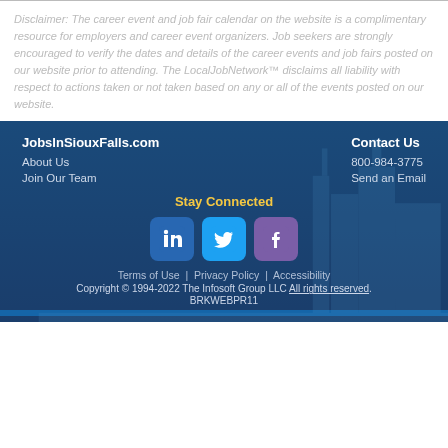Disclaimer: The career event and job fair calendar on the website is a complimentary resource for employers and career event organizers. Job seekers are strongly encouraged to verify the dates and details of the career events and job fairs posted on our website prior to attending. The LocalJobNetwork™ disclaims all liability with respect to actions taken or not taken based on any or all of the events posted on our website.
JobsInSiouxFalls.com
About Us
Join Our Team
Contact Us
800-984-3775
Send an Email
Stay Connected
[Figure (logo): LinkedIn, Twitter, and Facebook social media icons]
Terms of Use | Privacy Policy | Accessibility
Copyright © 1994-2022 The Infosoft Group LLC All rights reserved.
BRKWEBPR11